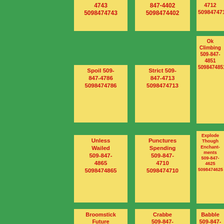4743
5098474743
847-4402
5098474402
4712
5098474712
Ok Climbing 509-847-4851
5098474851
Spoil 509-847-4786
5098474786
Strict 509-847-4713
5098474713
Unless Wailed 509-847-4865
5098474865
Punctures Spending 509-847-4710
5098474710
Explode Though Enchantments 509-847-4625
5098474625
Broomstick Future Word 509-847-4898
5098474898
Crabbe 509-847-4975
5098474975
Babble 509-847-4117
5098474117